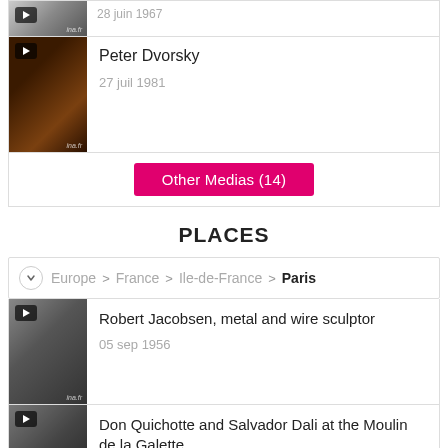[Figure (screenshot): Video thumbnail - top entry, black and white]
28 juin 1967
[Figure (screenshot): Video thumbnail - Peter Dvorsky, orange-toned scene]
Peter Dvorsky
27 juil 1981
Other Medias (14)
PLACES
Europe > France > Ile-de-France > Paris
[Figure (screenshot): Video thumbnail - Robert Jacobsen metal sculptures, black and white]
Robert Jacobsen, metal and wire sculptor
05 sep 1956
[Figure (screenshot): Video thumbnail - Don Quichotte and Salvador Dali, black and white]
Don Quichotte and Salvador Dali at the Moulin de la Galette